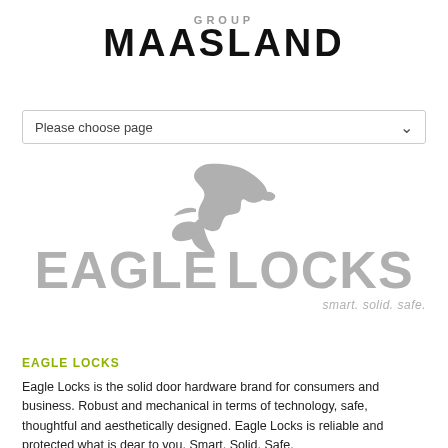[Figure (logo): Maasland Group logo with 'GROUP' text above large bold 'MAASLAND' text]
[Figure (other): Dropdown selector UI element with text 'Please choose page' and chevron arrow]
[Figure (logo): Eagle Locks logo: grey eagle head silhouette above large grey 'EAGLE LOCKS' text with registered trademark symbol, and tagline 'smart. solid. safe.']
EAGLE LOCKS
Eagle Locks is the solid door hardware brand for consumers and business. Robust and mechanical in terms of technology, safe, thoughtful and aesthetically designed. Eagle Locks is reliable and protected what is dear to you. Smart, Solid, Safe.